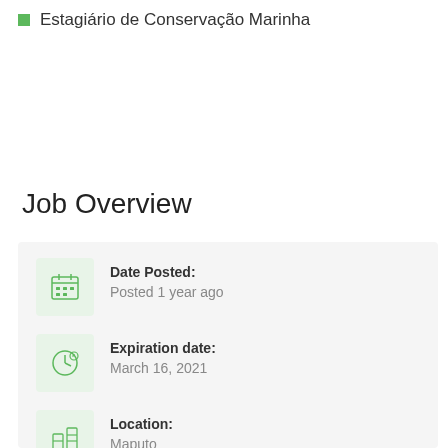Estagiário de Conservação Marinha
Job Overview
Date Posted: Posted 1 year ago
Expiration date: March 16, 2021
Location: Maputo